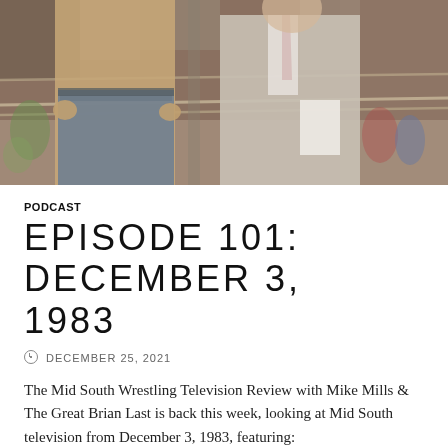[Figure (photo): A wrestler in denim shorts standing next to an interviewer in a grey blazer and tie, near wrestling ring ropes, with audience in the background. Appears to be from a 1980s wrestling television broadcast.]
PODCAST
EPISODE 101: DECEMBER 3, 1983
DECEMBER 25, 2021
The Mid South Wrestling Television Review with Mike Mills & The Great Brian Last is back this week, looking at Mid South television from December 3, 1983, featuring:
Krusher Darsow unveils his true colors?
Dr. Death vs. Nicolai Volkoff.